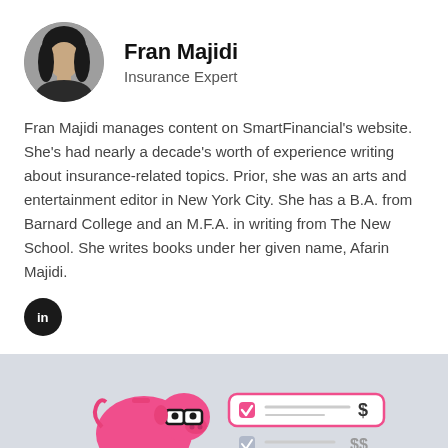[Figure (photo): Circular profile photo of Fran Majidi, a woman with dark hair]
Fran Majidi
Insurance Expert
Fran Majidi manages content on SmartFinancial's website. She's had nearly a decade's worth of experience writing about insurance-related topics. Prior, she was an arts and entertainment editor in New York City. She has a B.A. from Barnard College and an M.F.A. in writing from The New School. She writes books under her given name, Afarin Majidi.
[Figure (logo): LinkedIn icon — white 'in' on black circle]
[Figure (illustration): Pink piggy bank with glasses next to a checklist-style form with dollar signs, on a gray background]
Compare Insurance Rates for